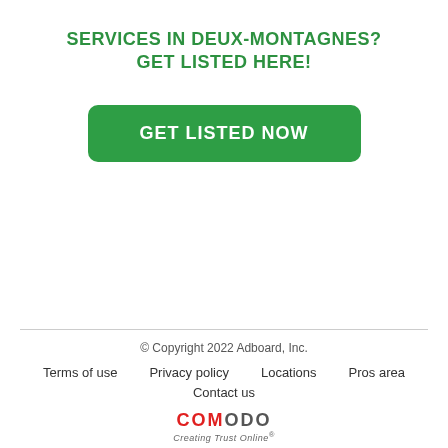SERVICES IN DEUX-MONTAGNES?
GET LISTED HERE!
[Figure (other): Green rounded button with white bold text reading GET LISTED NOW]
© Copyright 2022 Adboard, Inc.
Terms of use   Privacy policy   Locations   Pros area
Contact us
COMODO Creating Trust Online®